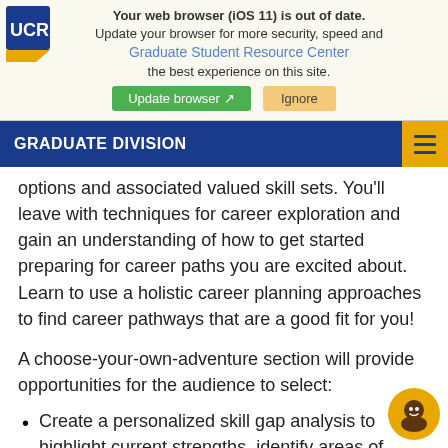[Figure (screenshot): Browser warning banner with UCR logo overlay, 'Graduate Student Resource Center' link text, warning message about outdated browser, and Update browser / Ignore buttons]
GRADUATE DIVISION
options and associated valued skill sets. You'll leave with techniques for career exploration and gain an understanding of how to get started preparing for career paths you are excited about. Learn to use a holistic career planning approaches to find career pathways that are a good fit for you!
A choose-your-own-adventure section will provide opportunities for the audience to select:
Create a personalized skill gap analysis to highlight current strengths, identify areas of potential gr... and develop action plans to bridge the gap toward